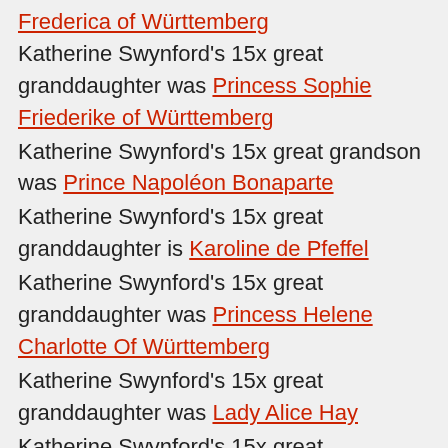Frederica of Württemberg — Katherine Swynford's 15x great granddaughter was Princess Sophie Friederike of Württemberg
Katherine Swynford's 15x great grandson was Prince Napoléon Bonaparte
Katherine Swynford's 15x great granddaughter is Karoline de Pfeffel
Katherine Swynford's 15x great granddaughter was Princess Helene Charlotte Of Württemberg
Katherine Swynford's 15x great granddaughter was Lady Alice Hay
Katherine Swynford's 15x great granddaughter was Lady Ida Hay
Katherine Swynford's 15x great grandson